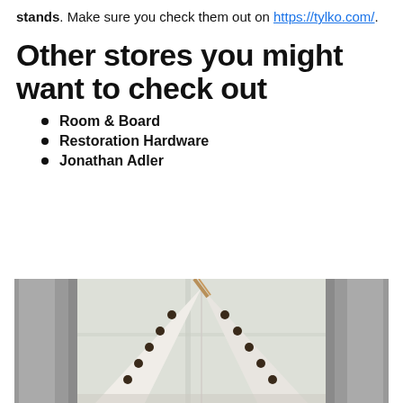stands. Make sure you check them out on https://tylko.com/.
Other stores you might want to check out
Room & Board
Restoration Hardware
Jonathan Adler
[Figure (photo): A white teepee tent with dark dot decorations hanging or standing near a window with grey curtains and natural light coming through.]